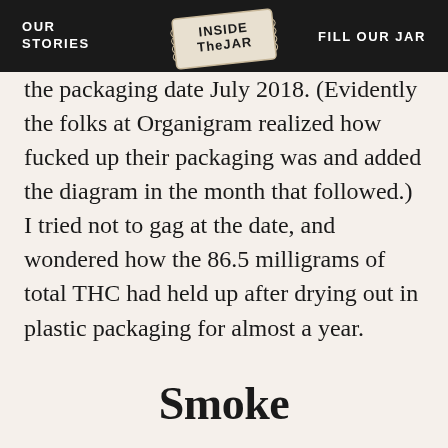OUR STORIES   INSIDE THE JAR   FILL OUR JAR
the packaging date July 2018. (Evidently the folks at Organigram realized how fucked up their packaging was and added the diagram in the month that followed.) I tried not to gag at the date, and wondered how the 86.5 milligrams of total THC had held up after drying out in plastic packaging for almost a year.
Smoke